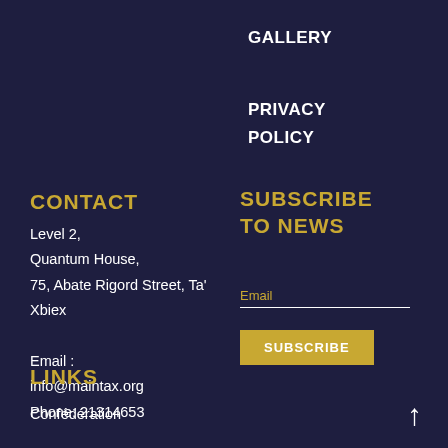GALLERY
PRIVACY
POLICY
CONTACT
Level 2,
Quantum House,
75, Abate Rigord Street, Ta' Xbiex
Email :
info@maintax.org
Phone: 21314653
SUBSCRIBE TO NEWS
Email
SUBSCRIBE
LINKS
Confédération